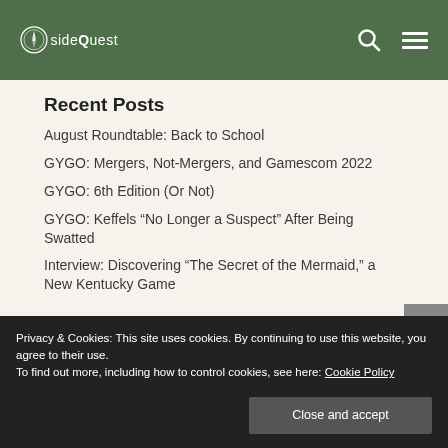sideQuest
Recent Posts
August Roundtable: Back to School
GYGO: Mergers, Not-Mergers, and Gamescom 2022
GYGO: 6th Edition (Or Not)
GYGO: Keffels “No Longer a Suspect” After Being Swatted
Interview: Discovering “The Secret of the Mermaid,” a New Kentucky Game
Privacy & Cookies: This site uses cookies. By continuing to use this website, you agree to their use.
To find out more, including how to control cookies, see here: Cookie Policy
Close and accept